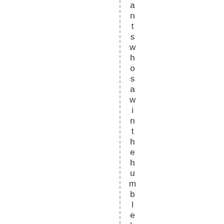ants who saw a win the humble birth of Ma